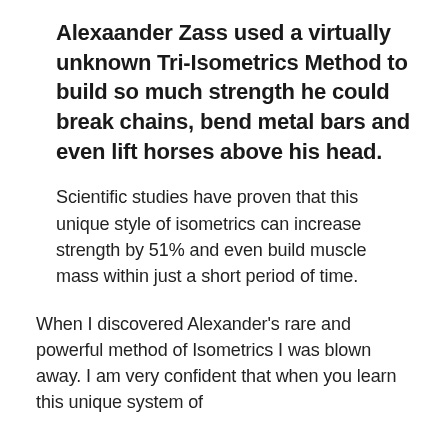Alexaander Zass used a virtually unknown Tri-Isometrics Method to build so much strength he could break chains, bend metal bars and even lift horses above his head.
Scientific studies have proven that this unique style of isometrics can increase strength by 51% and even build muscle mass within just a short period of time.
When I discovered Alexander's rare and powerful method of Isometrics I was blown away. I am very confident that when you learn this unique system of